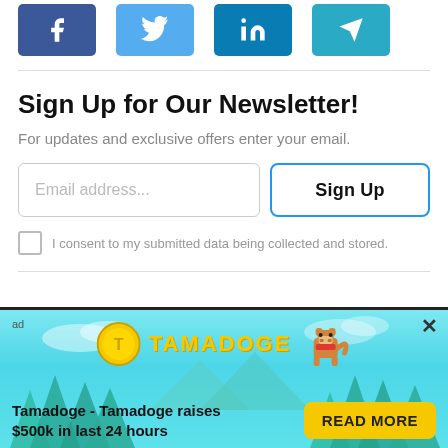[Figure (other): Social media share buttons: Facebook, Twitter, LinkedIn, Telegram]
Sign Up for Our Newsletter!
For updates and exclusive offers enter your email.
[Figure (other): Email address input field and Sign Up button]
I consent to my submitted data being collected and stored.
[Figure (other): Tamadoge advertisement banner: Tamadoge - Tamadoge raises $500k in last 24 hours. READ MORE button.]